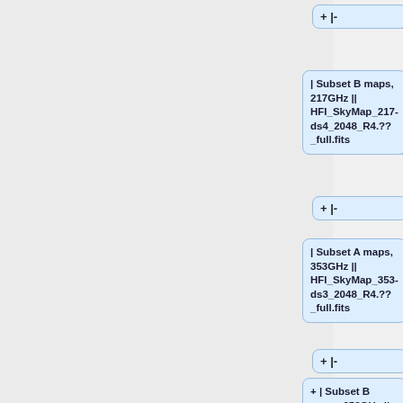[Figure (flowchart): A vertical tree/flowchart showing wiki-style entries for Planck HFI sky map subsets. Each node is a blue rounded box with text like '| Subset B maps, 217GHz || HFI_SkyMap_217-ds4_2048_R4.??_full.fits', connected by '+|-' connector nodes. Visible nodes from top: a partial connector, then Subset B maps 217GHz, then a connector, then Subset A maps 353GHz, then a connector, then partial Subset B maps 353GHz.]